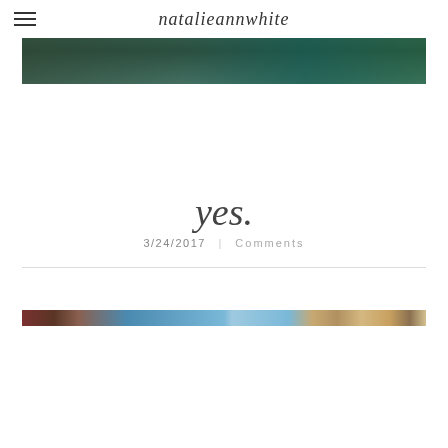natalieannwhite
[Figure (photo): Top portion of a photo showing people outdoors among trees with green/teal tones]
yes.
3/24/2017   Comments
[Figure (photo): Bottom portion of a wide photo strip showing outdoor scenes with blue sky and warm tones]